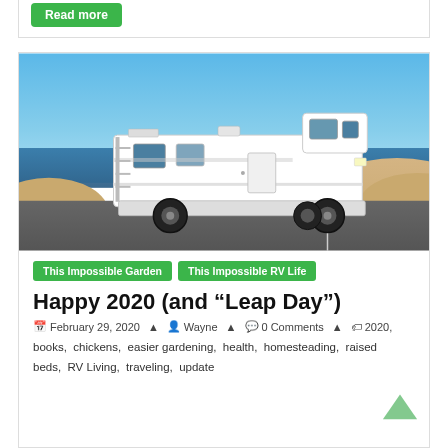[Figure (other): Green 'Read more' button at top of page, partial blog card]
[Figure (photo): White Class C motorhome RV parked on a coastal road with blue sky, ocean, and sandy dunes in the background]
This Impossible Garden
This Impossible RV Life
Happy 2020 (and “Leap Day”)
February 29, 2020   Wayne   0 Comments   2020,
books, chickens, easier gardening, health, homesteading, raised beds, RV Living, traveling, update